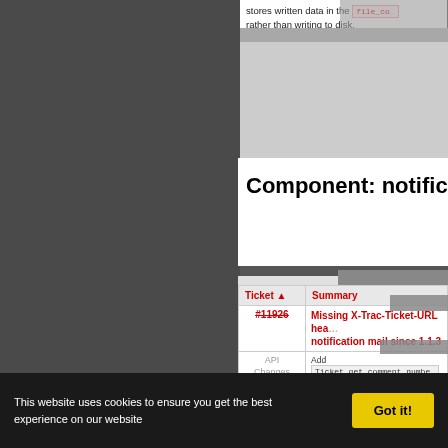stores written data in the file_co... rather than writing to disk.
Component: notification
| Ticket ▲ | Summary |
| --- | --- |
| #11926 | Missing X-Trac-Ticket-URL header in notification mail since 1.1.3 |
| API Changes | Add Ticket.get_comment_number... returns a comment number by its dat... |
| #11941 | Allow to reorder subscription rules by drag-and-drop and submit in bulk in notification preferences |
| API Changes | • Added $.setWarningUnsav... shows a warning if leaving the...
• Added .trac-button class... button for button elements... |
This website uses cookies to ensure you get the best experience on our website
Got it!